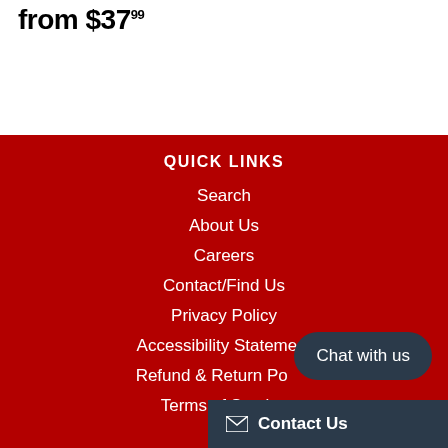from $37.99
QUICK LINKS
Search
About Us
Careers
Contact/Find Us
Privacy Policy
Accessibility Statement
Refund & Return Policy
Terms of Service
Chat with us
Contact Us